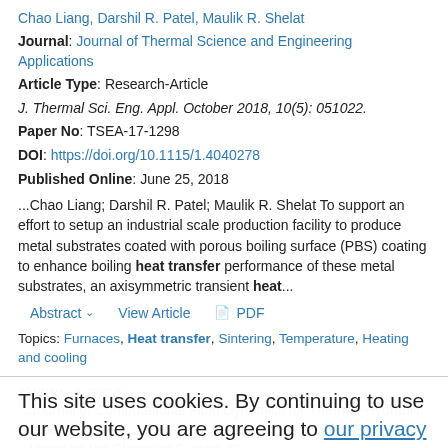Chao Liang, Darshil R. Patel, Maulik R. Shelat
Journal: Journal of Thermal Science and Engineering Applications
Article Type: Research-Article
J. Thermal Sci. Eng. Appl. October 2018, 10(5): 051022.
Paper No: TSEA-17-1298
DOI: https://doi.org/10.1115/1.4040278
Published Online: June 25, 2018
...Chao Liang; Darshil R. Patel; Maulik R. Shelat To support an effort to setup an industrial scale production facility to produce metal substrates coated with porous boiling surface (PBS) coating to enhance boiling heat transfer performance of these metal substrates, an axisymmetric transient heat...
Topics: Furnaces, Heat transfer, Sintering, Temperature, Heating and cooling
This site uses cookies. By continuing to use our website, you are agreeing to our privacy policy. Accept